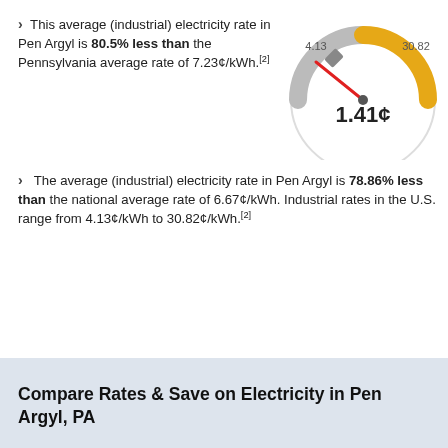This average (industrial) electricity rate in Pen Argyl is 80.5% less than the Pennsylvania average rate of 7.23¢/kWh.[2]
[Figure (other): Gauge/speedometer graphic showing 1.41¢ industrial electricity rate for Pen Argyl, with range from 4.13 to 30.82]
The average (industrial) electricity rate in Pen Argyl is 78.86% less than the national average rate of 6.67¢/kWh. Industrial rates in the U.S. range from 4.13¢/kWh to 30.82¢/kWh.[2]
Compare Rates & Save on Electricity in Pen Argyl, PA
Electricity Plans